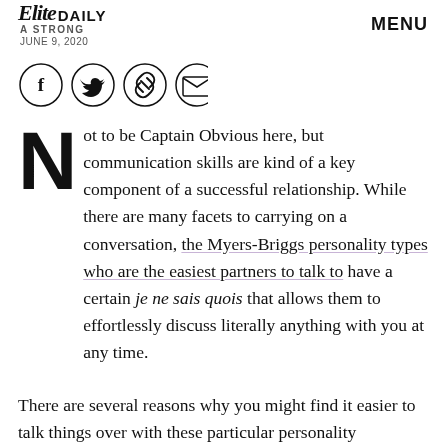Elite Daily | A STRONG | JUNE 9, 2020 | MENU
[Figure (illustration): Four circular social media share icons: Facebook (f), Twitter (bird), Link/chain, and Email (envelope)]
Not to be Captain Obvious here, but communication skills are kind of a key component of a successful relationship. While there are many facets to carrying on a conversation, the Myers-Briggs personality types who are the easiest partners to talk to have a certain je ne sais quois that allows them to effortlessly discuss literally anything with you at any time.
There are several reasons why you might find it easier to talk things over with these particular personality